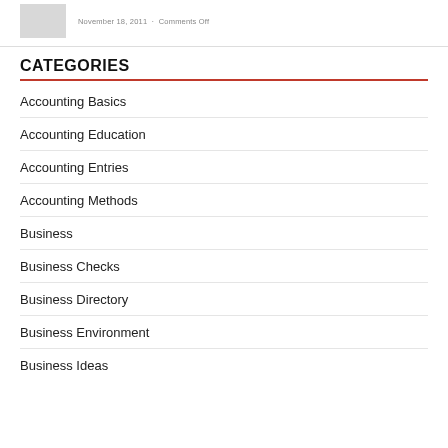November 18, 2011 · Comments Off
CATEGORIES
Accounting Basics
Accounting Education
Accounting Entries
Accounting Methods
Business
Business Checks
Business Directory
Business Environment
Business Ideas